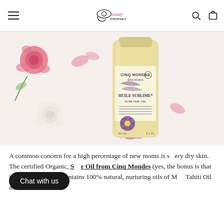beauty PROPHET. — Navigation header with logo, search, and cart icons
[Figure (photo): Product photo of Cinq Mondes Sublime Oil bottle (pale yellow, 100ml) surrounded by pink and white roses on a white background]
A common concern for a high percentage of new moms is s[…]ery dry skin. The certified Organic, Sublime Oil from Cinq Mondes (yes, the bonus is that it's dual-purpose!!) contains 100% natural, nurturing oils of […] Monoi […] Tahiti Oil and […] which